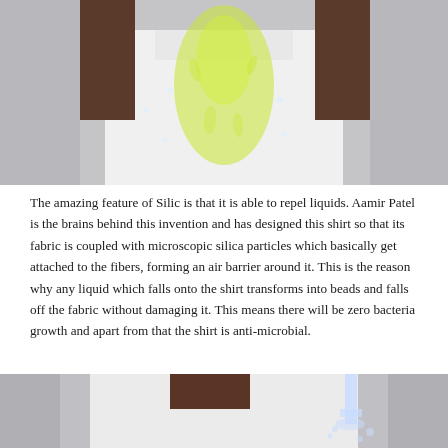[Figure (photo): A person wearing a white t-shirt with a yellowish-green liquid splashing on it and beading off, demonstrating the hydrophobic/liquid-repelling properties of the Silic shirt.]
The amazing feature of Silic is that it is able to repel liquids. Aamir Patel is the brains behind this invention and has designed this shirt so that its fabric is coupled with microscopic silica particles which basically get attached to the fibers, forming an air barrier around it. This is the reason why any liquid which falls onto the shirt transforms into beads and falls off the fabric without damaging it. This means there will be zero bacteria growth and apart from that the shirt is anti-microbial.
[Figure (photo): A person wearing a white shirt viewed from behind/side, with water being poured on the shirt and beading off, demonstrating the liquid-repelling property.]